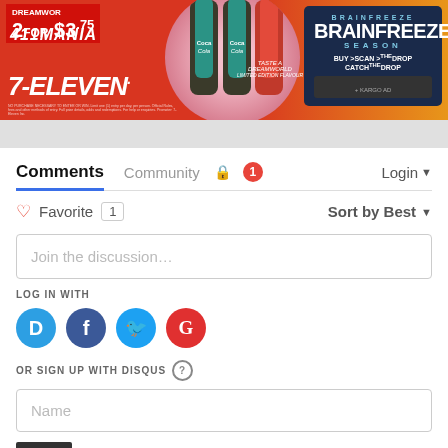[Figure (illustration): 7-Eleven advertisement banner featuring Coca-Cola Dreamworld bottles, '2 for $3.75' price offer, '411MANIA' text, 7-Eleven logo, Brainfreeze Season promotion with 'Buy Scan Catch the Drop' tagline and KARGO AD badge]
Comments
Community
Login
♡ Favorite 1
Sort by Best
Join the discussion…
LOG IN WITH
[Figure (logo): Disqus logo icon - blue circle with D]
[Figure (logo): Facebook logo icon - blue circle with f]
[Figure (logo): Twitter logo icon - light blue circle with bird]
[Figure (logo): Google logo icon - red circle with G]
OR SIGN UP WITH DISQUS ?
Name